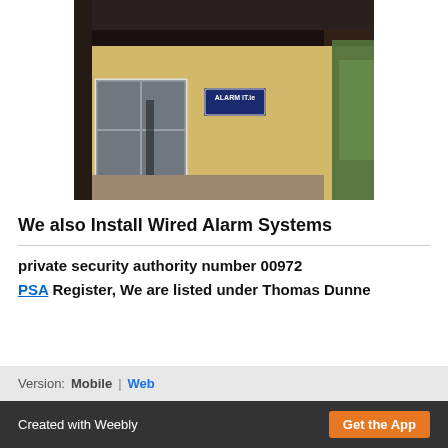[Figure (photo): Exterior photo of a building with a yellow/cream wall, dark roof, and an 'ALARM IT.ie' sign mounted on the wall. White windows visible on the left, greenery on the right.]
We also Install Wired Alarm Systems
private security authority number 00972
PSA Register, We are listed under Thomas Dunne
Version:  Mobile  |  Web
Created with Weebly  Get the App